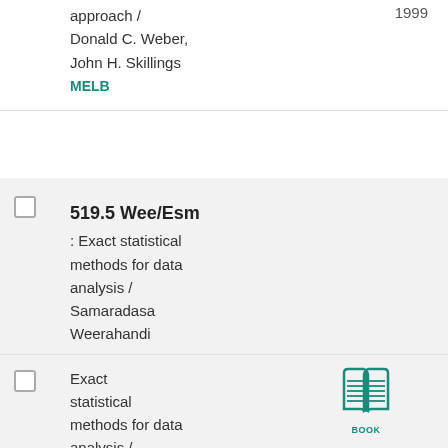approach / Donald C. Weber, John H. Skillings
MELB
519.5 Wee/Esm : Exact statistical methods for data analysis / Samaradasa Weerahandi
Exact statistical methods for data analysis / Samaradasa Weerahandi
[Figure (illustration): Book icon with label BOOK]
1995
W'PONDS